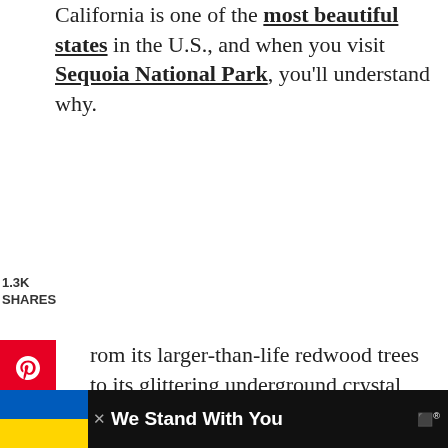California is one of the most beautiful states in the U.S., and when you visit Sequoia National Park, you'll understand why.
1.3K
SHARES
From its larger-than-life redwood trees to its glittering underground crystal caves, it will leave you breathless from top to bottom.
The main attraction of the park is its giant sequoia trees.
[Figure (infographic): Social media share sidebar with Pinterest, Facebook, Twitter, Reddit, and Email buttons]
They're more than 2,500 years old and 275 fe...
[Figure (infographic): Advertisement bar at bottom: Ukraine flag, We Stand With You text, close X button, and logo]